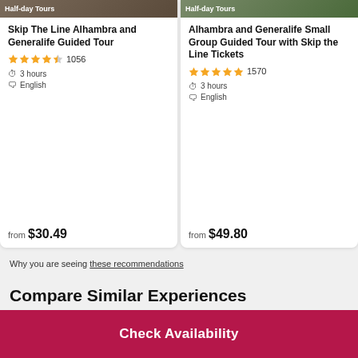Half-day Tours
Skip The Line Alhambra and Generalife Guided Tour
★★★★½ 1056
3 hours
English
from $30.49
Half-day Tours
Alhambra and Generalife Small Group Guided Tour with Skip the Line Tickets
★★★★★ 1570
3 hours
English
from $49.80
Why you are seeing these recommendations
Compare Similar Experiences
Check Availability